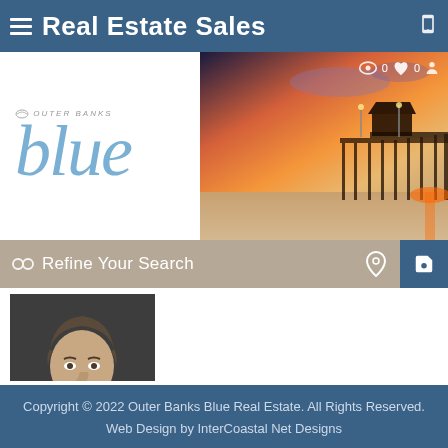Real Estate Sales
[Figure (photo): Hero banner with Outer Banks Blue Real Estate logo on left (white background) and sunset pier photo on right, with eye, heart and profile icons]
Refine Your Search
[Figure (photo): Headshot of a middle-aged man in a dark jacket, smiling, against a dark background]
Copyright © 2022 Outer Banks Blue Real Estate. All Rights Reserved. Web Design by InterCoastal Net Designs